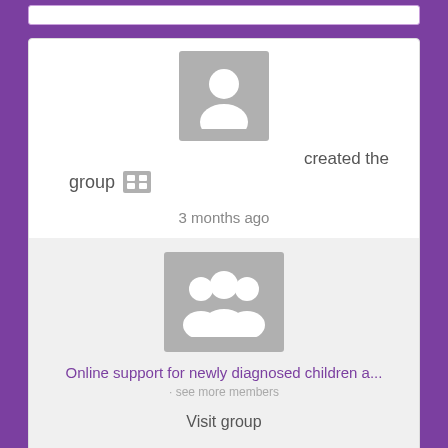[Figure (illustration): User avatar placeholder - grey square with white person silhouette icon]
created the
group
[Figure (illustration): Small group icon - grey square with people/grid symbol]
3 months ago
[Figure (illustration): Group avatar placeholder - grey square with white multiple people silhouette icon]
Online support for newly diagnosed children a...
· see more members
Visit group